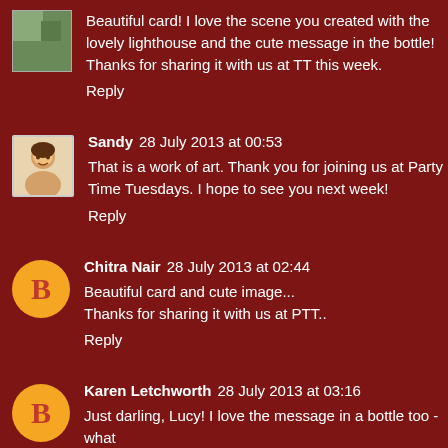Beautiful card! I love the scene you created with the lovely lighthouse and the cute message in the bottle! Thanks for sharing it with us at TT this week.
Reply
Sandy  28 July 2013 at 00:53
That is a work of art. Thank you for joining us at Party Time Tuesdays. I hope to see you next week!
Reply
Chitra Nair  28 July 2013 at 02:44
Beautiful card and cute image...
Thanks for sharing it with us at PTT..
Reply
Karen Letchworth  28 July 2013 at 03:16
Just darling, Lucy! I love the message in a bottle too - what